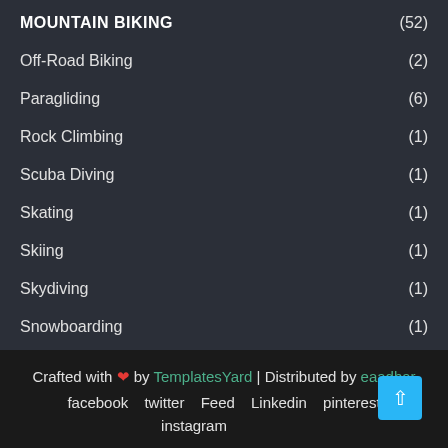MOUNTAIN BIKING (52)
Off-Road Biking (2)
Paragliding (6)
Rock Climbing (1)
Scuba Diving (1)
Skating (1)
Skiing (1)
Skydiving (1)
Snowboarding (1)
TRAVEL (104)
Water Surfing (1)
Crafted with ❤ by TemplatesYard | Distributed by eaadhar
facebook   twitter   Feed   Linkedin   pinterest
instagram